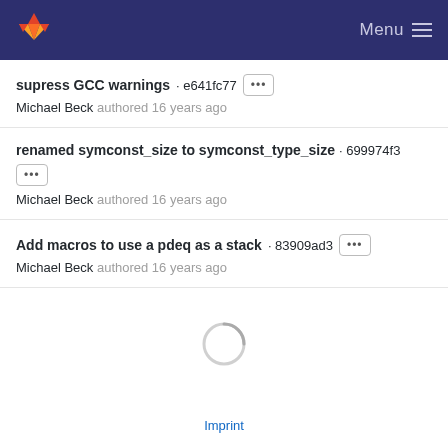GitLab - Menu
supress GCC warnings · e641fc77 ··· Michael Beck authored 16 years ago
renamed symconst_size to symconst_type_size · 699974f3 ··· Michael Beck authored 16 years ago
Add macros to use a pdeq as a stack · 83909ad3 ··· Michael Beck authored 16 years ago
[Figure (other): Loading spinner circle]
Imprint